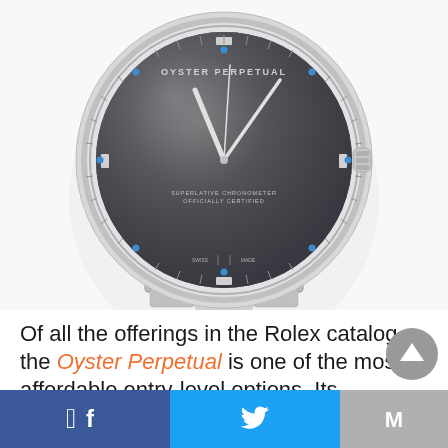[Figure (photo): Close-up photo of a Rolex Oyster Perpetual watch with dark grey/slate dial, silver stainless steel case, Oyster bracelet, blue dot hour markers, rectangular index markers, and crown at 3 o'clock. The watch face reads 'OYSTER PERPETUAL' at top and 'SUPERLATIVE CHRONOMETER OFFICIALLY CERTIFIED' in small text.]
Of all the offerings in the Rolex catalog, the Oyster Perpetual is one of the most affordable entry-level options. Its revolutionary patented system made it the
f  [Facebook] | [Twitter bird] | M